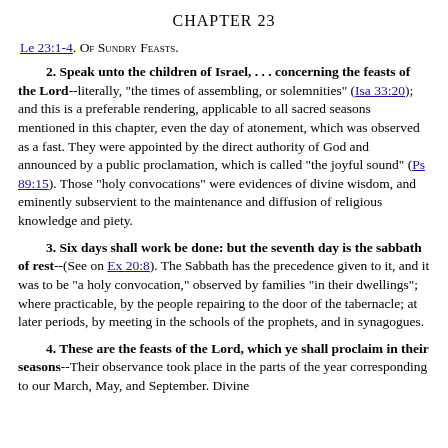CHAPTER 23
Le 23:1-4. Of Sundry Feasts.
2. Speak unto the children of Israel, . . . concerning the feasts of the Lord--literally, "the times of assembling, or solemnities" (Isa 33:20); and this is a preferable rendering, applicable to all sacred seasons mentioned in this chapter, even the day of atonement, which was observed as a fast. They were appointed by the direct authority of God and announced by a public proclamation, which is called "the joyful sound" (Ps 89:15). Those "holy convocations" were evidences of divine wisdom, and eminently subservient to the maintenance and diffusion of religious knowledge and piety.
3. Six days shall work be done: but the seventh day is the sabbath of rest--(See on Ex 20:8). The Sabbath has the precedence given to it, and it was to be "a holy convocation," observed by families "in their dwellings"; where practicable, by the people repairing to the door of the tabernacle; at later periods, by meeting in the schools of the prophets, and in synagogues.
4. These are the feasts of the Lord, which ye shall proclaim in their seasons--Their observance took place in the parts of the year corresponding to our March, May, and September. Divine...